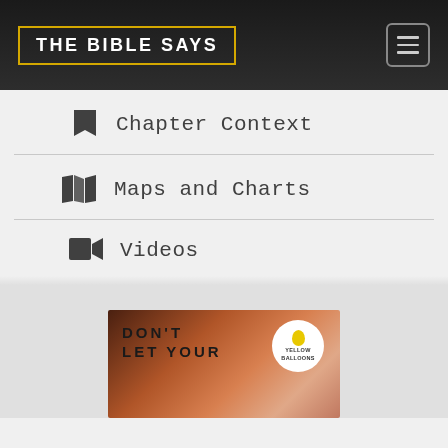THE BIBLE SAYS
Chapter Context
Maps and Charts
Videos
[Figure (screenshot): Video thumbnail showing text DON'T LET YOUR with Yellow Balloons logo in a circle overlay, warm orange/brown background]